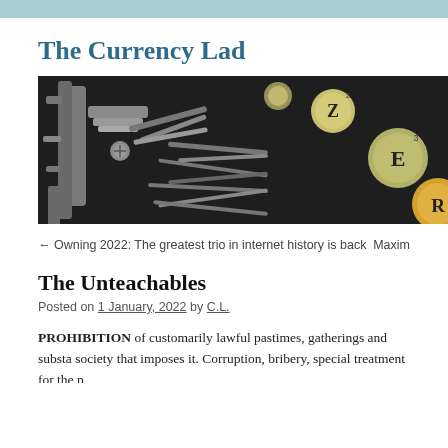The Currency Lad
[Figure (photo): Close-up photograph of vintage typewriter keys and mechanism, showing metal typebars and round keycaps with letters including Z, E, R, with yellow/cream colored key caps on a dark background.]
← Owning 2022: The greatest trio in internet history is back    Maxim
The Unteachables
Posted on 1 January, 2022 by C.L.
PROHIBITION of customarily lawful pastimes, gatherings and substa society that imposes it. Corruption, bribery, special treatment for the p